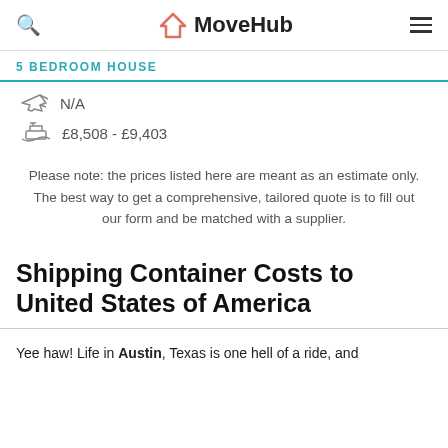MoveHub
5 BEDROOM HOUSE
N/A
£8,508 - £9,403
Please note: the prices listed here are meant as an estimate only. The best way to get a comprehensive, tailored quote is to fill out our form and be matched with a supplier.
Shipping Container Costs to United States of America
Yee haw! Life in Austin, Texas is one hell of a ride, and